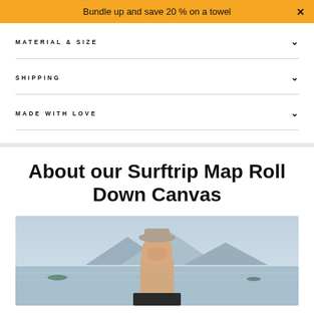Bundle up and save 20 % on a towel
MATERIAL & SIZE
SHIPPING
MADE WITH LOVE
About our Surftrip Map Roll Down Canvas
[Figure (photo): Person wearing a hat standing near water with mountains in background, holding a canvas frame]